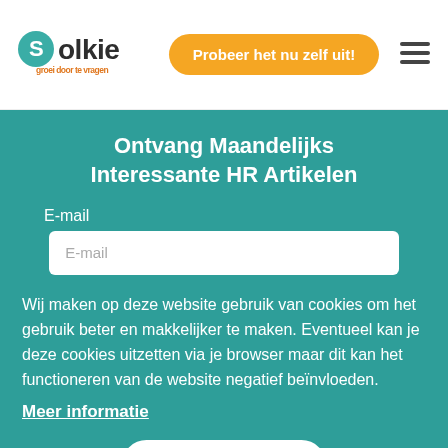[Figure (logo): Solkie logo with teal S in circle, orange tagline 'groei door te vragen']
Probeer het nu zelf uit!
[Figure (other): Hamburger menu icon (three horizontal lines)]
Ontvang Maandelijks Interessante HR Artikelen
E-mail
E-mail
Wij maken op deze website gebruik van cookies om het gebruik beter en makkelijker te maken. Eventueel kan je deze cookies uitzetten via je browser maar dit kan het functioneren van de website negatief beïnvloeden.
Meer informatie
Begrepen